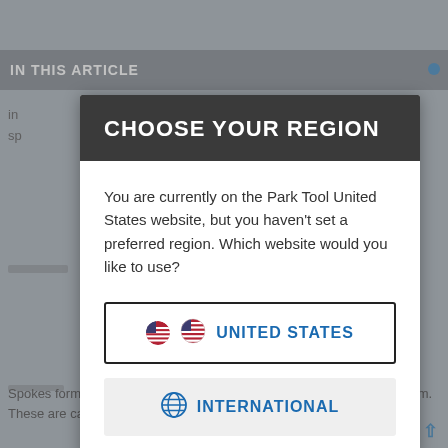IN THIS ARTICLE
CHOOSE YOUR REGION
You are currently on the Park Tool United States website, but you haven't set a preferred region. Which website would you like to use?
UNITED STATES
INTERNATIONAL
Spokes form a pattern with one another as the connect the hub to the rim. These are called cr